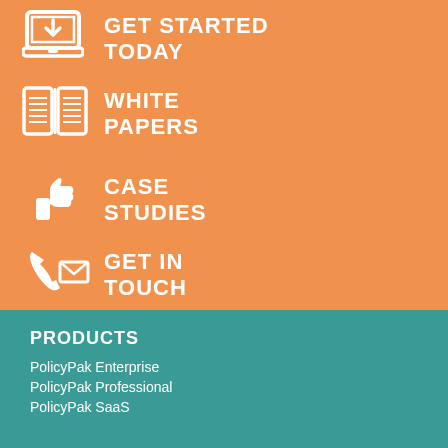[Figure (infographic): Orange background section with four navigation items, each with a white icon and white bold uppercase text. Items: GET STARTED TODAY (laptop/download icon), WHITE PAPERS (book/document icon), CASE STUDIES (thumbs up icon), GET IN TOUCH (phone and envelope icons).]
GET STARTED TODAY
WHITE PAPERS
CASE STUDIES
GET IN TOUCH
PRODUCTS
PolicyPak Enterprise
PolicyPak Professional
PolicyPak SaaS